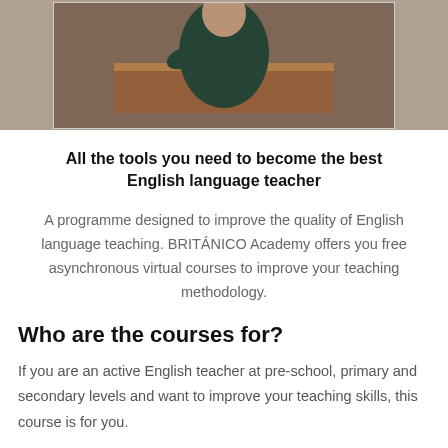[Figure (photo): Photo of a person in a dark jacket sitting at a wooden desk in a classroom, partially cropped at top]
All the tools you need to become the best English language teacher
A programme designed to improve the quality of English language teaching. BRITÁNICO Academy offers you free asynchronous virtual courses to improve your teaching methodology.
Who are the courses for?
If you are an active English teacher at pre-school, primary and secondary levels and want to improve your teaching skills, this course is for you.
Courses: